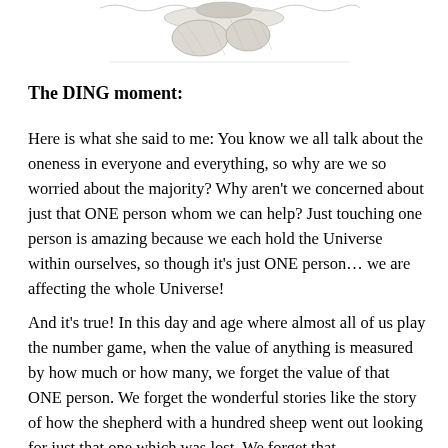[Figure (illustration): A pencil sketch illustration of figures, appearing to show people or children in a pastoral scene, partially visible at the top of the page.]
The DING moment:
Here is what she said to me: You know we all talk about the oneness in everyone and everything, so why are we so worried about the majority? Why aren't we concerned about just that ONE person whom we can help? Just touching one person is amazing because we each hold the Universe within ourselves, so though it's just ONE person... we are affecting the whole Universe!
And it's true! In this day and age where almost all of us play the number game, when the value of anything is measured by how much or how many, we forget the value of that ONE person. We forget the wonderful stories like the story of how the shepherd with a hundred sheep went out looking for just that one which was lost. We forget that